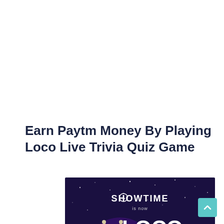Earn Paytm Money By Playing Loco Live Trivia Quiz Game
[Figure (screenshot): Loco Live Trivia Game Show promotional image on a dark purple/navy background with stars. Text reads 'SHOWTIME is now LOCO Live Trivia Game Show' with a cartoon mascot character wearing sunglasses and a graduation cap.]